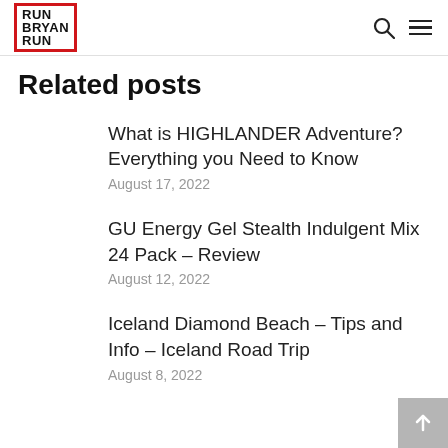RUN BRYAN RUN
Related posts
What is HIGHLANDER Adventure? Everything you Need to Know
August 17, 2022
GU Energy Gel Stealth Indulgent Mix 24 Pack – Review
August 12, 2022
Iceland Diamond Beach – Tips and Info – Iceland Road Trip
August 8, 2022